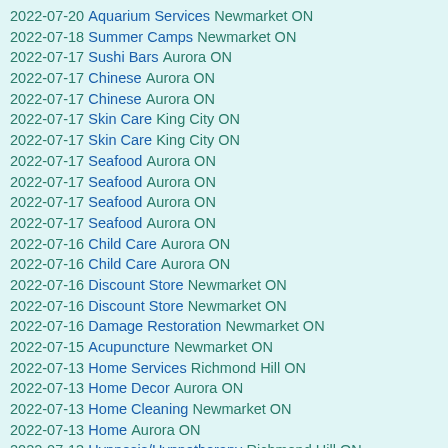2022-07-20 Aquarium Services Newmarket ON
2022-07-18 Summer Camps Newmarket ON
2022-07-17 Sushi Bars Aurora ON
2022-07-17 Chinese Aurora ON
2022-07-17 Chinese Aurora ON
2022-07-17 Skin Care King City ON
2022-07-17 Skin Care King City ON
2022-07-17 Seafood Aurora ON
2022-07-17 Seafood Aurora ON
2022-07-17 Seafood Aurora ON
2022-07-17 Seafood Aurora ON
2022-07-16 Child Care Aurora ON
2022-07-16 Child Care Aurora ON
2022-07-16 Discount Store Newmarket ON
2022-07-16 Discount Store Newmarket ON
2022-07-16 Damage Restoration Newmarket ON
2022-07-15 Acupuncture Newmarket ON
2022-07-13 Home Services Richmond Hill ON
2022-07-13 Home Decor Aurora ON
2022-07-13 Home Cleaning Newmarket ON
2022-07-13 Home Aurora ON
2022-07-13 Hypnosis/Hypnotherapy Richmond Hill ON
2022-07-02 Shopping Newmarket ON